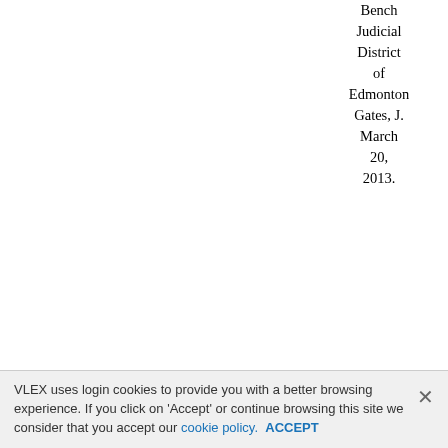Bench Judicial District of Edmonton Gates, J. March 20, 2013.
Summary:
A husband sued a doctor, alleging that his failure to properly treat his wife resulted in her breast cancer diagnosis being delayed and her subsequent death. A Master allowed the husband's application to amend the statement of claim. The amendment added an allegation that the doctor fraudulently altered his charts after the wife was diagnosed, and that this act merited punitive damages and solicitor-client costs. The doctor
VLEX uses login cookies to provide you with a better browsing experience. If you click on 'Accept' or continue browsing this site we consider that you accept our cookie policy. ACCEPT